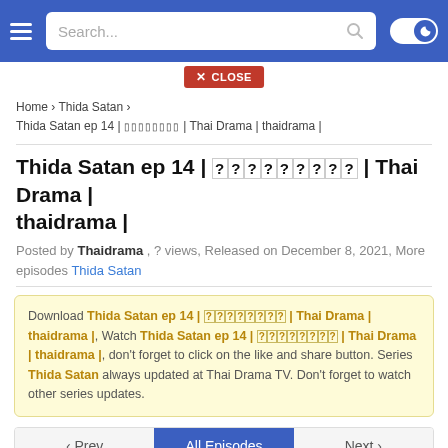Search... [navbar with hamburger menu, search box, dark mode toggle]
✕ CLOSE
Home › Thida Satan › Thida Satan ep 14 | [Thai chars] | Thai Drama | thaidrama |
Thida Satan ep 14 | [Thai chars] | Thai Drama | thaidrama |
Posted by Thaidrama , ? views, Released on December 8, 2021, More episodes Thida Satan
Download Thida Satan ep 14 | [Thai chars] | Thai Drama | thaidrama |, Watch Thida Satan ep 14 | [Thai chars] | Thai Drama | thaidrama |, don't forget to click on the like and share button. Series Thida Satan always updated at Thai Drama TV. Don't forget to watch other series updates.
‹ Prev  All Episodes  Next ›
[Figure (other): Social share buttons: Facebook (blue), Twitter (cyan), WhatsApp (green)]